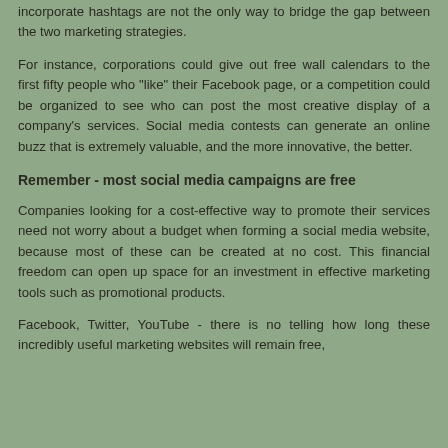incorporate hashtags are not the only way to bridge the gap between the two marketing strategies.
For instance, corporations could give out free wall calendars to the first fifty people who "like" their Facebook page, or a competition could be organized to see who can post the most creative display of a company's services. Social media contests can generate an online buzz that is extremely valuable, and the more innovative, the better.
Remember - most social media campaigns are free
Companies looking for a cost-effective way to promote their services need not worry about a budget when forming a social media website, because most of these can be created at no cost. This financial freedom can open up space for an investment in effective marketing tools such as promotional products.
Facebook, Twitter, YouTube - there is no telling how long these incredibly useful marketing websites will remain free,